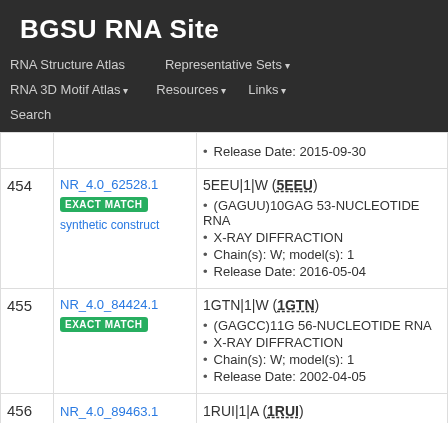BGSU RNA Site
RNA Structure Atlas | Representative Sets ▾ | RNA 3D Motif Atlas ▾ | Resources ▾ | Links ▾ | Search
| # | NR Set | Details |
| --- | --- | --- |
|  |  | Release Date: 2015-09-30 |
| 454 | NR_4.0_62528.1
EXACT MATCH
synthetic construct | 5EEU|1|W (5EEU)
(GAGUU)10GAG 53-NUCLEOTIDE RNA
X-RAY DIFFRACTION
Chain(s): W; model(s): 1
Release Date: 2016-05-04 |
| 455 | NR_4.0_84424.1
EXACT MATCH | 1GTN|1|W (1GTN)
(GAGCC)11G 56-NUCLEOTIDE RNA
X-RAY DIFFRACTION
Chain(s): W; model(s): 1
Release Date: 2002-04-05 |
| 456 | NR_4.0_89463.1 | 1RUI|1|A (1RUI) |